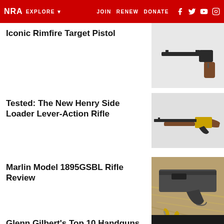NRA EXPLORE ▾  JOIN  RENEW  DONATE
Iconic Rimfire Target Pistol
[Figure (photo): Target pistol with long barrel and wooden grip, shown against white background]
Tested: The New Henry Side Loader Lever-Action Rifle
[Figure (photo): Henry lever-action rifle with brass/gold receiver and wooden stock, shown against white background]
Marlin Model 1895GSBL Rifle Review
[Figure (photo): Close-up of Marlin Model 1895GSBL rifle lever and receiver, resting on hay/straw with ammunition visible]
Glenn Gilbert's Top 10 Handguns